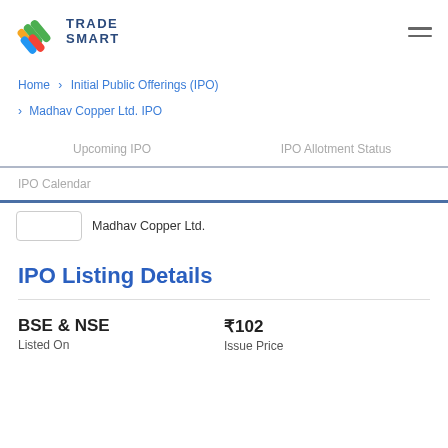TRADE SMART
Home > Initial Public Offerings (IPO)
> Madhav Copper Ltd. IPO
Upcoming IPO | IPO Allotment Status
IPO Calendar
Madhav Copper Ltd.
IPO Listing Details
| Listed On | Issue Price |
| --- | --- |
| BSE & NSE | ₹102 |